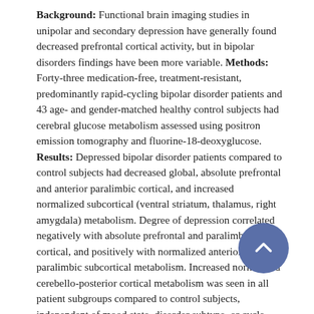Background: Functional brain imaging studies in unipolar and secondary depression have generally found decreased prefrontal cortical activity, but in bipolar disorders findings have been more variable. Methods: Forty-three medication-free, treatment-resistant, predominantly rapid-cycling bipolar disorder patients and 43 age- and gender-matched healthy control subjects had cerebral glucose metabolism assessed using positron emission tomography and fluorine-18-deoxyglucose. Results: Depressed bipolar disorder patients compared to control subjects had decreased global, absolute prefrontal and anterior paralimbic cortical, and increased normalized subcortical (ventral striatum, thalamus, right amygdala) metabolism. Degree of depression correlated negatively with absolute prefrontal and paralimbic cortical, and positively with normalized anterior paralimbic subcortical metabolism. Increased normalized cerebello-posterior cortical metabolism was seen in all patient subgroups compared to control subjects, independent of mood state, disorder subtype, or cycle frequency. Conclusions: In bipolar depression, we observed a pattern of prefrontal hypometabolism, consistent with observations in primary unipolar and secondary depression, suggesting this is part of a common neural substrate for depression independent of etiology. In contrast, the cerebello-posterior cortical normalized